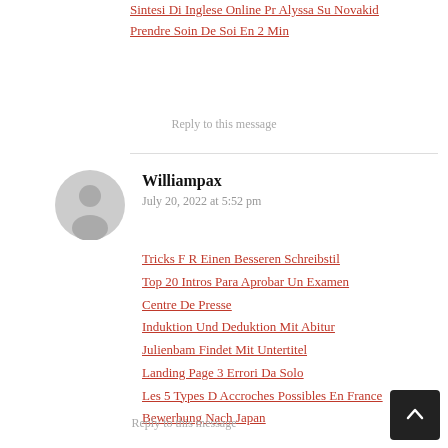Sintesi Di Inglese Online Pr Alyssa Su Novakid
Prendre Soin De Soi En 2 Min
Reply to this message
Williampax
July 20, 2022 at 5:52 pm
Tricks F R Einen Besseren Schreibstil
Top 20 Intros Para Aprobar Un Examen
Centre De Presse
Induktion Und Deduktion Mit Abitur
Julienbam Findet Mit Untertitel
Landing Page 3 Errori Da Solo
Les 5 Types D Accroches Possibles En France
Bewerbung Nach Japan
Reply to this message